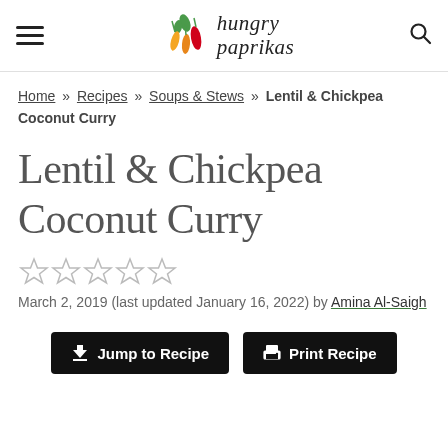hungry paprikas (logo with hamburger menu and search icon)
Home » Recipes » Soups & Stews » Lentil & Chickpea Coconut Curry
Lentil & Chickpea Coconut Curry
☆☆☆☆☆
March 2, 2019 (last updated January 16, 2022) by Amina Al-Saigh
Jump to Recipe | Print Recipe